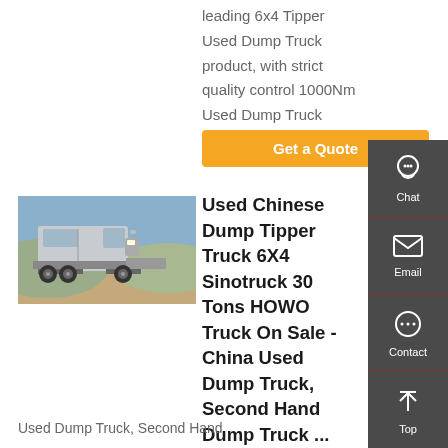leading 6x4 Tipper Used Dump Truck product, with strict quality control 1000Nm Used Dump Truck factories
Get a Quote
[Figure (photo): Silver/grey dump truck tractor unit parked on dusty terrain with hills in background]
Used Chinese Dump Tipper Truck 6X4 Sinotruck 30 Tons HOWO Truck On Sale - China Used Dump Truck, Second Hand Dump Truck ...
Used Dump Truck, Second Hand
[Figure (infographic): Sidebar with Chat, Email, Contact, and Top navigation icons on dark grey background]